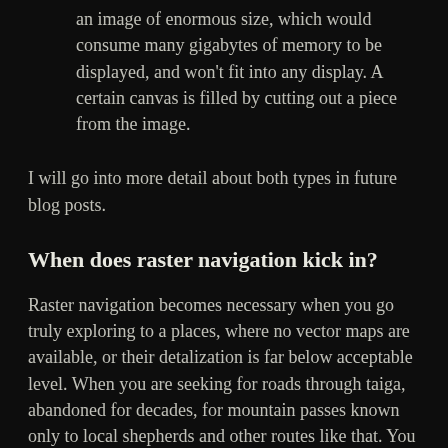an image of enormous size, which would consume many gigabytes of memory to be displayed, and won't fit into any display. A certain canvas is filled by cutting out a piece from the image.
I will go into more detail about both types in future blog posts.
When does raster navigation kick in?
Raster navigation becomes necessary when you go truly exploring to a places, where no vector maps are available, or their detalization is far below acceptable level. When you are seeking for roads through taiga, abandoned for decades, for mountain passes known only to local shepherds and other routes like that. You probably won't find such a place in the USA, but in Russia, Kazakhstan, Mongolia and likely many other countries of Asia there are plenty of such terrain.
Windows way